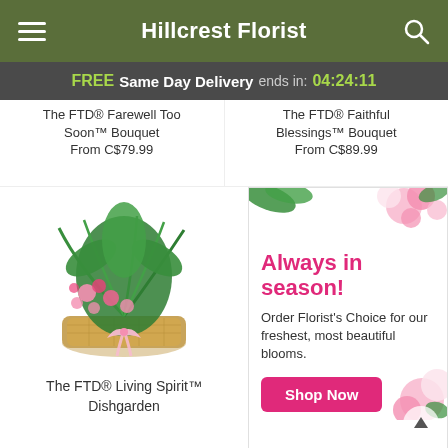Hillcrest Florist
FREE Same Day Delivery ends in: 04:24:11
The FTD® Farewell Too Soon™ Bouquet
From C$79.99
The FTD® Faithful Blessings™ Bouquet
From C$89.99
[Figure (photo): Lush green dishgarden arrangement in a wicker basket with pink flowers and ribbon bow]
The FTD® Living Spirit™ Dishgarden
[Figure (photo): Promotional banner showing pink and white flowers with text 'Always in season! Order Florist's Choice for our freshest, most beautiful blooms.' and a pink 'Shop Now' button]